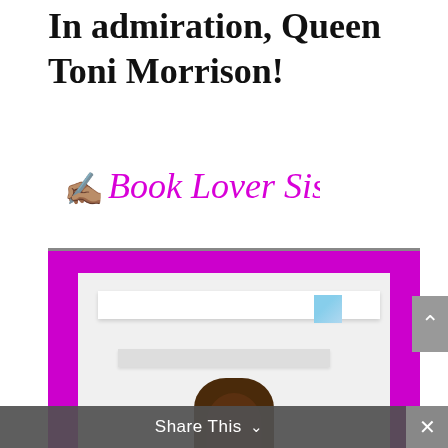In admiration, Queen Toni Morrison!
[Figure (logo): Book Lover Sistah script logo in magenta/pink cursive with a writing hand emoji]
[Figure (photo): Photo framed with bright magenta/pink border showing a person with braided hair sitting in a bright white room with floating shelves in the background]
Share This